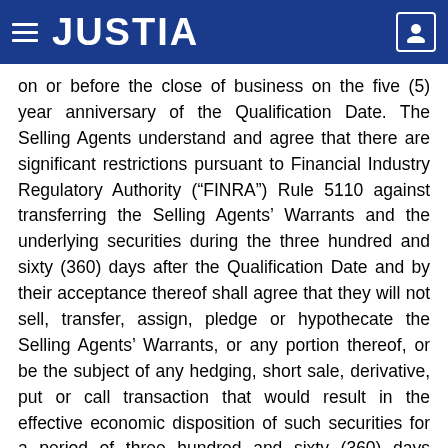JUSTIA
on or before the close of business on the five (5) year anniversary of the Qualification Date. The Selling Agents understand and agree that there are significant restrictions pursuant to Financial Industry Regulatory Authority (“FINRA”) Rule 5110 against transferring the Selling Agents’ Warrants and the underlying securities during the three hundred and sixty (360) days after the Qualification Date and by their acceptance thereof shall agree that they will not sell, transfer, assign, pledge or hypothecate the Selling Agents’ Warrants, or any portion thereof, or be the subject of any hedging, short sale, derivative, put or call transaction that would result in the effective economic disposition of such securities for a period of three hundred and sixty (360) days following the Qualification Date to anyone other than (i) a Selling agent or Dealer in connection with the Offering or (ii) a bona fide officer or partner of a Selling Agent or Dealer;